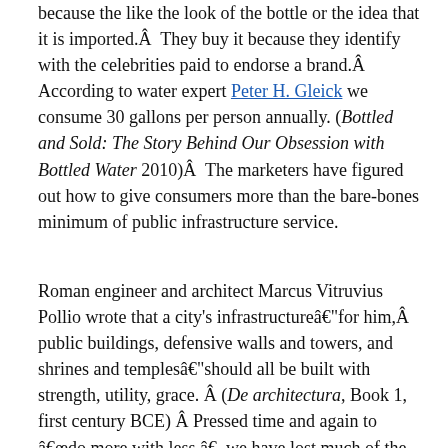because the like the look of the bottle or the idea that it is imported.Â  They buy it because they identify with the celebrities paid to endorse a brand.Â  According to water expert Peter H. Gleick we consume 30 gallons per person annually. (Bottled and Sold: The Story Behind Our Obsession with Bottled Water 2010)Â  The marketers have figured out how to give consumers more than the bare-bones minimum of public infrastructure service.
Roman engineer and architect Marcus Vitruvius Pollio wrote that a city's infrastructureâ€“for him,Â  public buildings, defensive walls and towers, and shrines and templesâ€“should all be built with strength, utility, grace. Â (De architectura, Book 1, first century BCE) Â Pressed time and again to â€œdo more with less,â€ we have lost much of the grace or